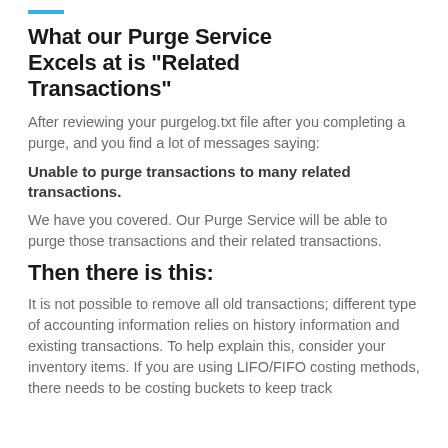What our Purge Service Excels at is “Related Transactions”
After reviewing your purgelog.txt file after you completing a purge, and you find a lot of messages saying:
Unable to purge transactions to many related transactions.
We have you covered.  Our Purge Service will be able to purge those transactions and their related transactions.
Then there is this:
It is not possible to remove all old transactions; different type of accounting information relies on history information and existing transactions. To help explain this, consider your inventory items. If you are using LIFO/FIFO costing methods, there needs to be costing buckets to keep track